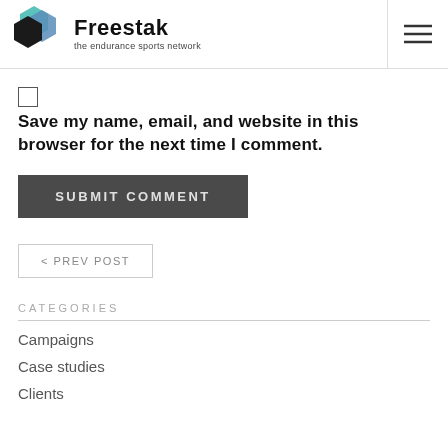Freestak – the endurance sports network
Save my name, email, and website in this browser for the next time I comment.
SUBMIT COMMENT
< PREV POST
CATEGORIES
Campaigns
Case studies
Clients